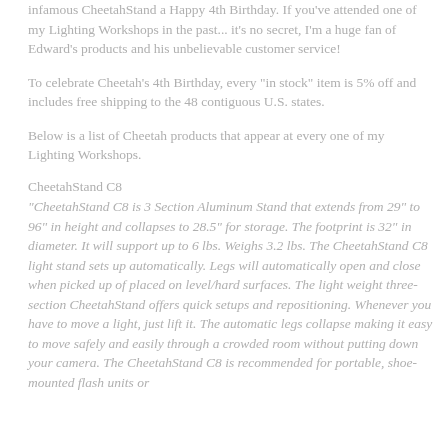infamous CheetahStand a Happy 4th Birthday. If you've attended one of my Lighting Workshops in the past... it's no secret, I'm a huge fan of Edward's products and his unbelievable customer service!
To celebrate Cheetah's 4th Birthday, every "in stock" item is 5% off and includes free shipping to the 48 contiguous U.S. states.
Below is a list of Cheetah products that appear at every one of my Lighting Workshops.
CheetahStand C8
"CheetahStand C8 is 3 Section Aluminum Stand that extends from 29" to 96" in height and collapses to 28.5" for storage. The footprint is 32" in diameter. It will support up to 6 lbs. Weighs 3.2 lbs. The CheetahStand C8 light stand sets up automatically. Legs will automatically open and close when picked up of placed on level/hard surfaces. The light weight three-section CheetahStand offers quick setups and repositioning. Whenever you have to move a light, just lift it. The automatic legs collapse making it easy to move safely and easily through a crowded room without putting down your camera. The CheetahStand C8 is recommended for portable, shoe-mounted flash units or